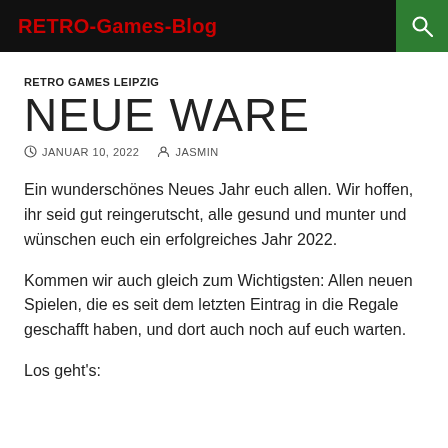RETRO-Games-Blog
RETRO GAMES LEIPZIG
NEUE WARE
JANUAR 10, 2022  JASMIN
Ein wunderschönes Neues Jahr euch allen. Wir hoffen, ihr seid gut reingerutscht, alle gesund und munter und wünschen euch ein erfolgreiches Jahr 2022.
Kommen wir auch gleich zum Wichtigsten: Allen neuen Spielen, die es seit dem letzten Eintrag in die Regale geschafft haben, und dort auch noch auf euch warten.
Los geht's: